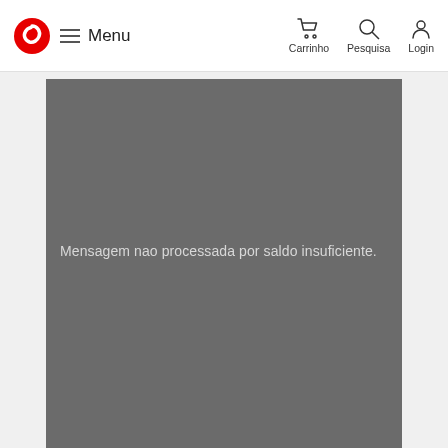Menu | Carrinho | Pesquisa | Login
[Figure (screenshot): Vodafone website screenshot showing a gray content panel with error message 'Mensagem nao processada por saldo insuficiente.']
Mensagem nao processada por saldo insuficiente.